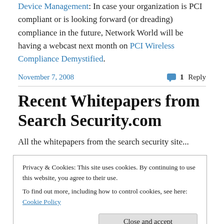Device Management: In case your organization is PCI compliant or is looking forward (or dreading) compliance in the future, Network World will be having a webcast next month on PCI Wireless Compliance Demystified.
November 7, 2008
1 Reply
Recent Whitepapers from Search Security.com
All the whitepapers from the search security site...
Privacy & Cookies: This site uses cookies. By continuing to use this website, you agree to their use.
To find out more, including how to control cookies, see here: Cookie Policy
Close and accept
Posted: 19 Sep 2008